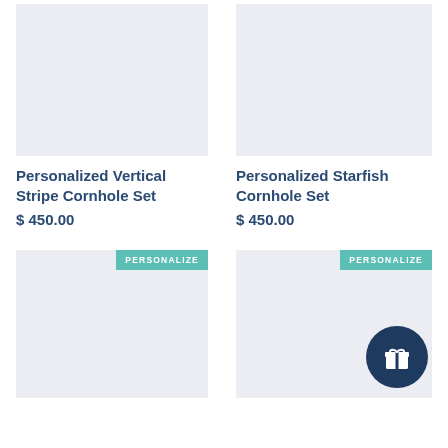[Figure (photo): Product image placeholder - light gray rectangle for Personalized Vertical Stripe Cornhole Set]
[Figure (photo): Product image placeholder - light gray rectangle for Personalized Starfish Cornhole Set]
Personalized Vertical Stripe Cornhole Set
$ 450.00
Personalized Starfish Cornhole Set
$ 450.00
[Figure (photo): Product image placeholder - light gray rectangle with PERSONALIZE badge (bottom left card)]
[Figure (photo): Product image placeholder - light gray rectangle with PERSONALIZE badge and gift icon button (bottom right card)]